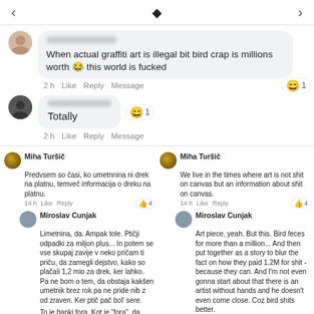[Figure (screenshot): Facebook comments screenshot with top navigation bar showing left arrow, diamond icon, and right arrow]
When actual graffiti art is illegal bit bird crap is millions worth 😂 this world is fucked
2 h  Like  Reply  Message  [😄 1]
Totally  [😄 1]
2 h  Like  Reply  Message
Miha Turšič
Predvsem so časi, ko umetnnina ni drek na platnu, temveč informacija o dreku na platnu.
14 h  Like  Reply  [👍4]
Miha Turšič
We live in the times where art is not shit on canvas but an information about shit on canvas.
14 h  Like  Reply  [👍4]
Miroslav Cunjak
Limetnina, da. Ampak tole. Ptičji odpadki za miljon plus... In potem se vse skupaj zavije v neko pričam ti priču, da zamegli dejstvo, kako so plačali 1,2 mio za drek, ker lahko. Pa ne bom o tem, da obstaja kakšen umetnik brez rok pa ne pride nib z od zraven. Ker ptič pač bol' sere.

To je banki fora. Kot je "fora", da banka plačuje za ptičji drek.
Miroslav Cunjak
Art piece, yeah. But this. Bird feces for more than a million... And then put together as a story to blur the fact on how they paid 1.2M for shit - because they can. And I'm not even gonna start about that there is an artist without hands and he doesn't even come close. Coz bird shits better.

This a joke for a bank. As it's a 'joke' that the bank pays for bird shit.